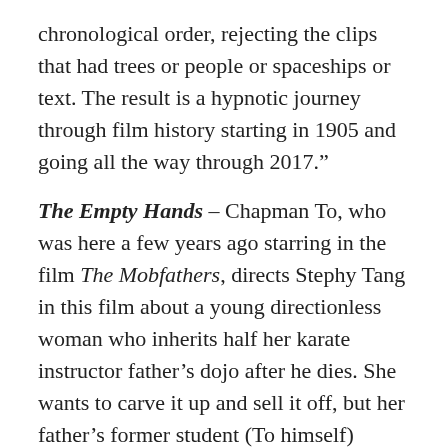chronological order, rejecting the clips that had trees or people or spaceships or text. The result is a hypnotic journey through film history starting in 1905 and going all the way through 2017.”
The Empty Hands – Chapman To, who was here a few years ago starring in the film The Mobfathers, directs Stephy Tang in this film about a young directionless woman who inherits half her karate instructor father’s dojo after he dies. She wants to carve it up and sell it off, but her father’s former student (To himself) convinces her to give fighting another chance. A fine film, reminiscent in its best moments of the Johnnie To (no relation) masterpiece Throw Down.